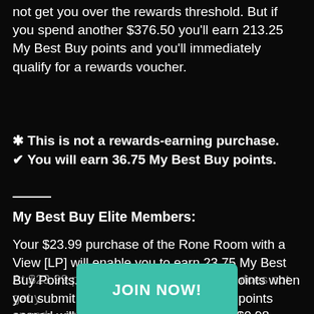not get you over the rewards threshold. But if you spend another $376.50 you'll earn 213.25 My Best Buy points and you'll immediately qualify for a rewards voucher.
✱ This is not a rewards-earning purchase.
✔ You will earn 36.75 My Best Buy points.
My Best Buy Elite Members:
Your $23.99 purchase of the Rone Room with a View [LP] will enable you to earn 23.75 My Best Buy Points. You'll then earn 25 bonus points when you submit a product review. Your total points earned will be 48.75, and you will earn $0.98.
At $23.99 purchase price does not get you over the rewards threshold. But if you spend another $1,123 you'll earn